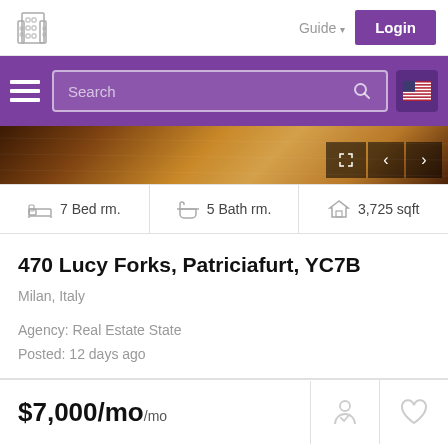Guide  Login
[Figure (screenshot): Real estate website navigation bar with logo, Guide dropdown, and Login button]
[Figure (screenshot): Purple search bar with hamburger menu, search input field with magnifying glass icon, and US flag button]
[Figure (photo): Interior hardwood floor property photo with image controls (expand, back, forward arrows)]
| Bedrooms | Bathrooms | Size |
| --- | --- | --- |
| 7 Bed rm. | 5 Bath rm. | 3,725 sqft |
470 Lucy Forks, Patriciafurt, YC7B
Milan, Italy
Agency: Real Estate State
Posted: 12 days ago
$7,000/mo/mo